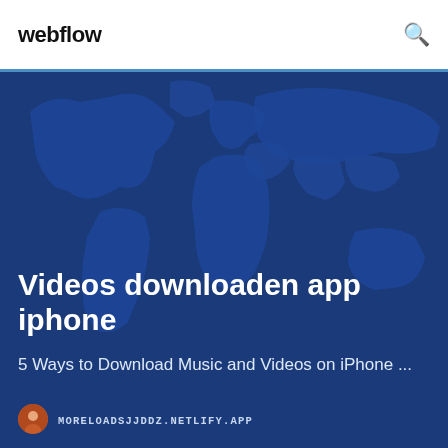webflow
[Figure (illustration): Dark blue world map silhouette background for hero section]
Videos downloaden app iphone
5 Ways to Download Music and Videos on iPhone ...
MORELOADSJJDDZ.NETLIFY.APP